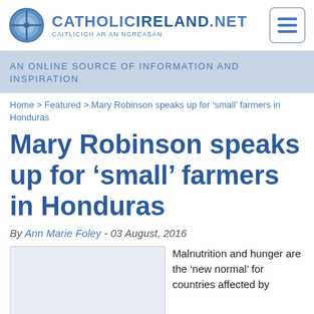CATHOLICIRELAND.NET – CAITLICIGH AR AN NGRÉASÁN
AN ONLINE SOURCE OF INFORMATION AND INSPIRATION
Home > Featured > Mary Robinson speaks up for 'small' farmers in Honduras
Mary Robinson speaks up for 'small' farmers in Honduras
By Ann Marie Foley - 03 August, 2016
[Figure (photo): Article image placeholder]
Malnutrition and hunger are the 'new normal' for countries affected by